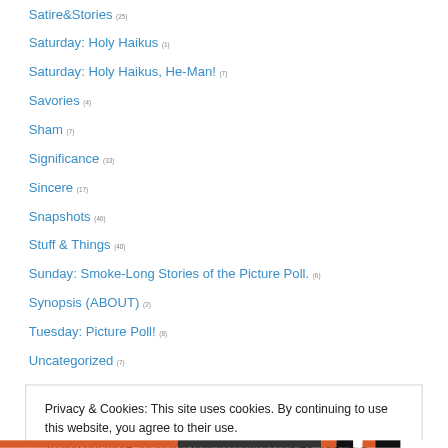Satire&Stories (25)
Saturday: Holy Haikus (1)
Saturday: Holy Haikus, He-Man! (7)
Savories (4)
Sham (7)
Significance (33)
Sincere (17)
Snapshots (46)
Stuff & Things (40)
Sunday: Smoke-Long Stories of the Picture Poll. (6)
Synopsis (ABOUT) (2)
Tuesday: Picture Poll! (8)
Uncategorized (7)
Privacy & Cookies: This site uses cookies. By continuing to use this website, you agree to their use.
To find out more, including how to control cookies, see here: Cookie Policy
Close and accept